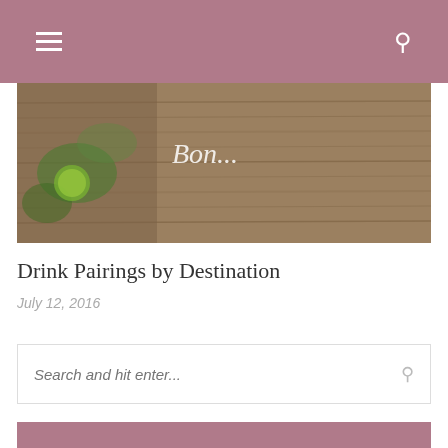Navigation bar with menu and search icons
[Figure (photo): Food photo on wood background showing seafood/oysters with lime and herbs, with cursive text overlay]
Drink Pairings by Destination
July 12, 2016
Search and hit enter...
EXCLUSIVE SAVINGS
[Figure (photo): Tropical green foliage/jungle leaves photo]